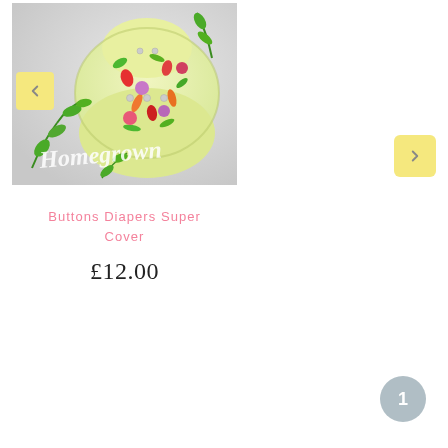[Figure (photo): A colorful cloth diaper/nappy cover with a vegetable print pattern on a light yellow-green background, photographed with fresh herbs and vegetables on a white/grey surface. The text 'Homegrown' appears in a script font overlay on the image.]
Buttons Diapers Super Cover
£12.00